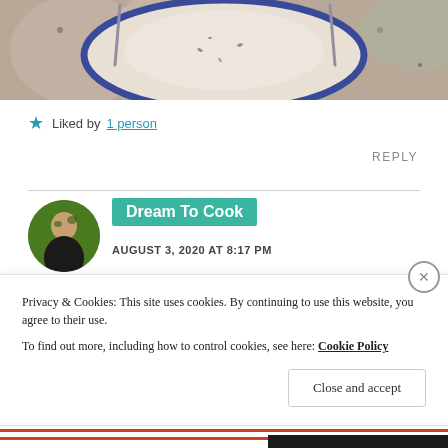[Figure (photo): Top portion of a food photo showing a decorative blue-rimmed plate on a floral/stone background, partially cropped at top]
★ Liked by 1 person
REPLY
Dream To Cook
AUGUST 3, 2020 AT 8:17 PM
Privacy & Cookies: This site uses cookies. By continuing to use this website, you agree to their use.
To find out more, including how to control cookies, see here: Cookie Policy
Close and accept